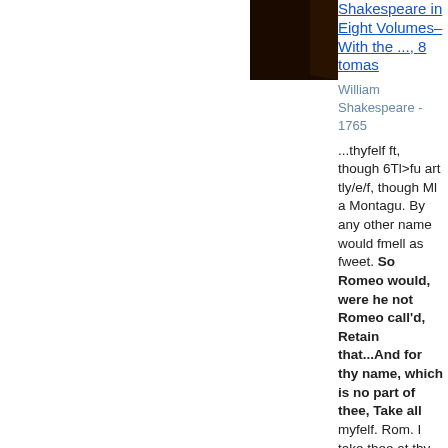[Figure (photo): Book cover thumbnail - dark brown/black cover image]
Shakespeare in Eight Volumes–With the ..., 8 tomas
William Shakespeare - 1765
...thyfelf ft, though 6Tl>fu art tly/e/f, though Ml a Montagu. By any other name would fmell as fweet. So Romeo would, were he not Romeo call'd, Retain that...And for thy name, which is no part of thee, Take all myfelf. Rom. I take thee at thy word : Call me but love, and I'll